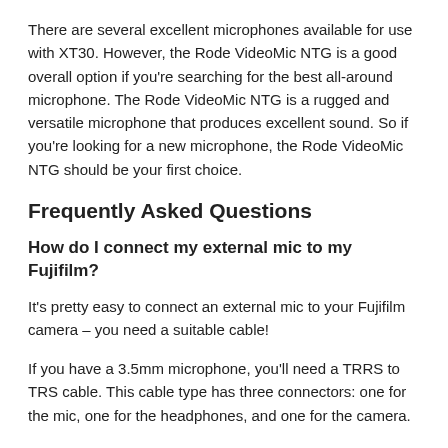There are several excellent microphones available for use with XT30. However, the Rode VideoMic NTG is a good overall option if you're searching for the best all-around microphone. The Rode VideoMic NTG is a rugged and versatile microphone that produces excellent sound. So if you're looking for a new microphone, the Rode VideoMic NTG should be your first choice.
Frequently Asked Questions
How do I connect my external mic to my Fujifilm?
It's pretty easy to connect an external mic to your Fujifilm camera – you need a suitable cable!
If you have a 3.5mm microphone, you'll need a TRRS to TRS cable. This cable type has three connectors: one for the mic, one for the headphones, and one for the camera.